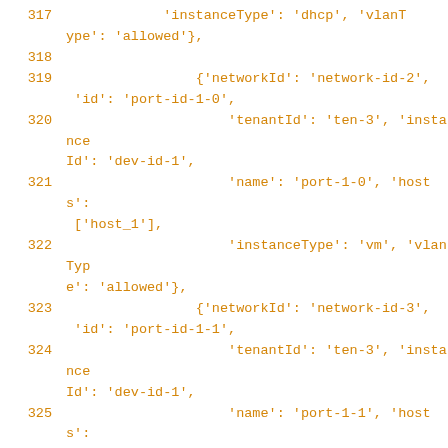317  'instanceType': 'dhcp', 'vlanType': 'allowed'},
318
319  {'networkId': 'network-id-2', 'id': 'port-id-1-0',
320  'tenantId': 'ten-3', 'instanceId': 'dev-id-1',
321  'name': 'port-1-0', 'hosts': ['host_1'],
322  'instanceType': 'vm', 'vlanType': 'allowed'},
323  {'networkId': 'network-id-3', 'id': 'port-id-1-1',
324  'tenantId': 'ten-3', 'instanceId': 'dev-id-1',
325  'name': 'port-1-1', 'hosts': ['host_1'],
326  'instanceType': 'vm', 'vlanType': 'allowed'},
327
328  {'networkId': 'network-id-4', 'id': 'port-id-2-0',
329  'tenantId': 'ten-3', 'instance